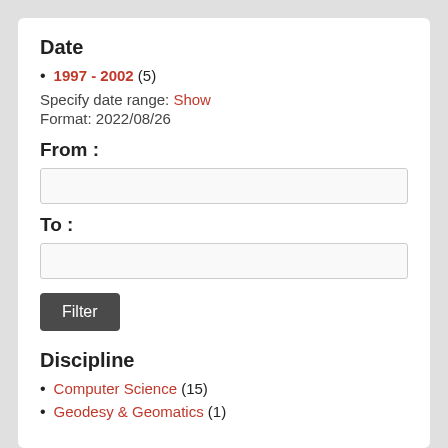Date
1997 - 2002 (5)
Specify date range: Show
Format: 2022/08/26
From :
To :
Filter
Discipline
Computer Science (15)
Geodesy & Geomatics (1)